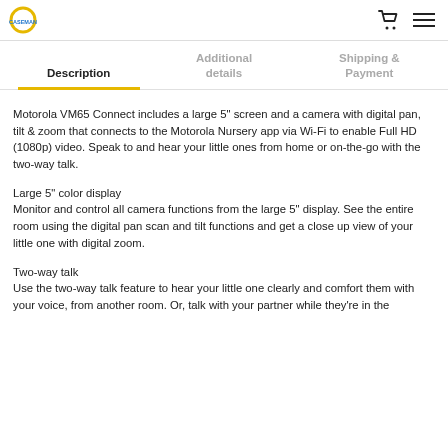Navigation header with logo, cart icon, and menu icon
Description | Additional details | Shipping & Payment
Motorola VM65 Connect includes a large 5" screen and a camera with digital pan, tilt & zoom that connects to the Motorola Nursery app via Wi-Fi to enable Full HD (1080p) video. Speak to and hear your little ones from home or on-the-go with the two-way talk.
Large 5" color display
Monitor and control all camera functions from the large 5" display. See the entire room using the digital pan scan and tilt functions and get a close up view of your little one with digital zoom.
Two-way talk
Use the two-way talk feature to hear your little one clearly and comfort them with your voice, from another room. Or, talk with your partner while they're in the